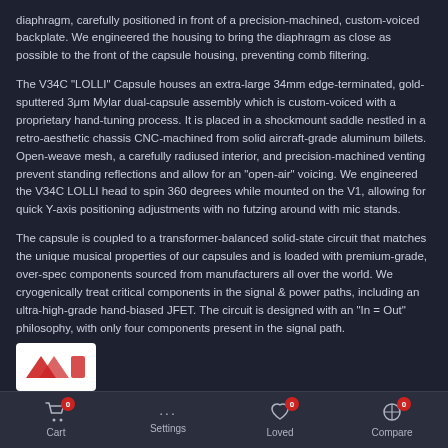diaphragm, carefully positioned in front of a precision-machined, custom-voiced backplate. We engineered the housing to bring the diaphragm as close as possible to the front of the capsule housing, preventing comb filtering.
The V34C "LOLLI" Capsule houses an extra-large 34mm edge-terminated, gold-sputtered 3μm Mylar dual-capsule assembly which is custom-voiced with a proprietary hand-tuning process. It is placed in a shockmount saddle nestled in a retro-aesthetic chassis CNC-machined from solid aircraft-grade aluminum billets. Open-weave mesh, a carefully radiused interior, and precision-machined venting prevent standing reflections and allow for an "open-air" voicing. We engineered the V34C LOLLI head to spin 360 degrees while mounted on the V1, allowing for quick Y-axis positioning adjustments with no futzing around with mic stands.
The capsule is coupled to a transformer-balanced solid-state circuit that matches the unique musical properties of our capsules and is loaded with premium-grade, over-spec components sourced from manufacturers all over the world. We cryogenically treat critical components in the signal & power paths, including an ultra-high-grade hand-biased JFET. The circuit is designed with an "In = Out" philosophy, with only four components present in the signal path.
[Figure (logo): Brand logo in white box at bottom left]
Cart 0   Settings   Loved 0   Compare 0